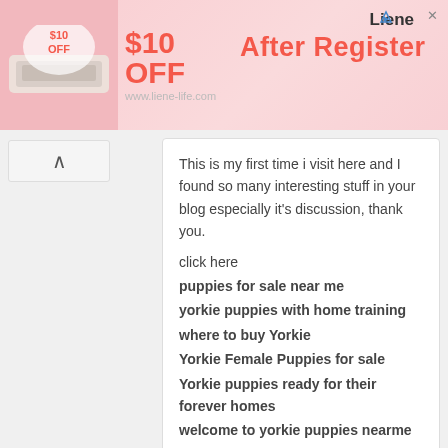[Figure (screenshot): Advertisement banner for Liene brand: pink background, product image on left, '$10 OFF After Register' text in center-right, Liene logo top right, website URL www.liene-life.com]
This is my first time i visit here and I found so many interesting stuff in your blog especially it's discussion, thank you.
click here
puppies for sale near me
yorkie puppies with home training
where to buy Yorkie
Yorkie Female Puppies for sale
Yorkie puppies ready for their forever homes
welcome to yorkie puppies nearme
Blockchain Kya Hai
January 17, 2022 at 6:09 PM
I always thought of them to be public. All of us know a very popular example of public Blockchain Kya Hai Technology, which are